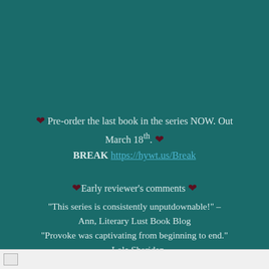❤ Pre-order the last book in the series NOW. Out March 18th. ❤ BREAK https://hywt.us/Break
❤Early reviewer's comments ❤ "This series is consistently unputdownable!" – Ann, Literary Lust Book Blog "Provoke was captivating from beginning to end." – Lola Sheridan "Provoke was thrilling, exciting, and steamy!" – Amanda Davanzati
[Figure (other): Small thumbnail image placeholder in white footer bar at bottom of page]